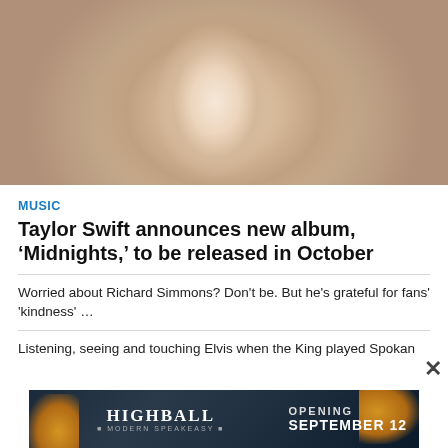[Figure (photo): Close-up portrait photo of Taylor Swift with blonde hair, dramatic eye makeup, and jeweled earrings against a neutral background]
MUSIC
Taylor Swift announces new album, ‘Midnights,’ to be released in October
Worried about Richard Simmons? Don't be. But he's grateful for fans' 'kindness' ...
Listening, seeing and touching Elvis when the King played Spokan...
[Figure (photo): Advertisement banner for Highball Modern Speakeasy opening September 12, with dark background and orange cocktail decorations]